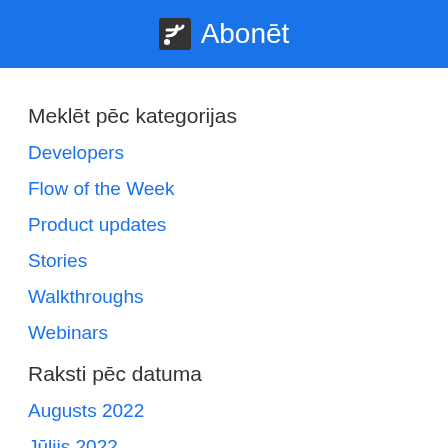Abonēt
Meklēt pēc kategorijas
Developers
Flow of the Week
Product updates
Stories
Walkthroughs
Webinars
Raksti pēc datuma
Augusts 2022
Jūlijs 2022